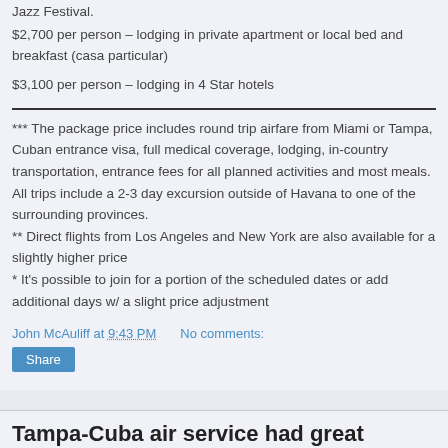Jazz Festival.
$2,700 per person – lodging in private apartment or local bed and breakfast (casa particular)
$3,100 per person – lodging in 4 Star hotels
*** The package price includes round trip airfare from Miami or Tampa, Cuban entrance visa, full medical coverage, lodging, in-country transportation, entrance fees for all planned activities and most meals. All trips include a 2-3 day excursion outside of Havana to one of the surrounding provinces.
** Direct flights from Los Angeles and New York are also available for a slightly higher price
* It's possible to join for a portion of the scheduled dates or add additional days w/ a slight price adjustment
John McAuliff at 9:43 PM   No comments:
Share
Tampa-Cuba air service had great